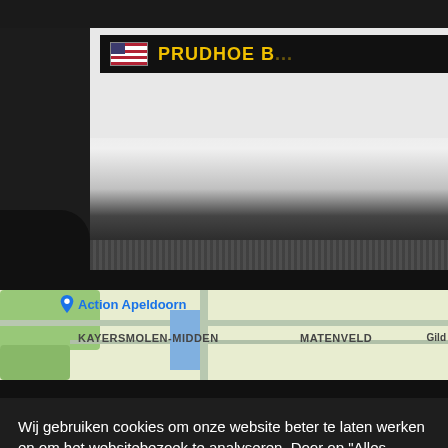[Figure (photo): Close-up photo of a truck with an American flag sticker and yellow 'PRUDHOE B...' text on a black stripe, with a ridged step below]
[Figure (map): Google Maps screenshot showing Action Apeldoorn location pin, with areas labeled KAYERSMOLEN-MIDDEN, MATENVELD, and partial Gild... text. Shows green park areas and a water channel.]
Wij gebruiken cookies om onze website beter te laten werken en om het websitebezoek te analyseren. Door op "Alles accpteren" te klikken gaat u akkoord met het gebruik van cookies.
Als u op "Instellingen" klikt kunt u zelf bepalen welke cookies u wilt accepteren. Houd hierbij wel rekening dat het ten koste kan gaan van de website beleving.
Instellingen
Alles accepteren